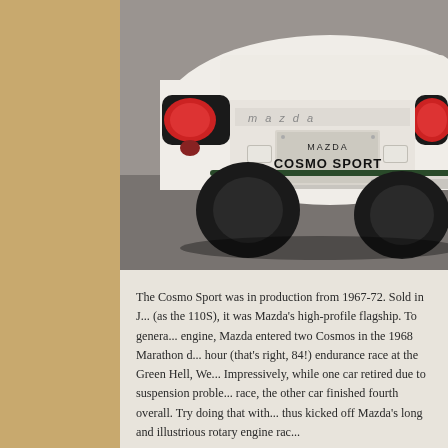[Figure (photo): Rear view of a white Mazda Cosmo Sport classic car, showing twin round tail lights, a license plate reading 'MAZDA COSMO SPORT', and the distinctive fastback body style. The car is photographed on a gray surface.]
The Cosmo Sport was in production from 1967-72. Sold in Japan (as the 110S), it was Mazda's high-profile flagship. To generate engine, Mazda entered two Cosmos in the 1968 Marathon de la Route 84-hour (that's right, 84!) endurance race at the Green Hell, West Germany. Impressively, while one car retired due to suspension problems late in the race, the other car finished fourth overall. Try doing that with a piston engine! This thus kicked off Mazda's long and illustrious rotary engine racing heritage.